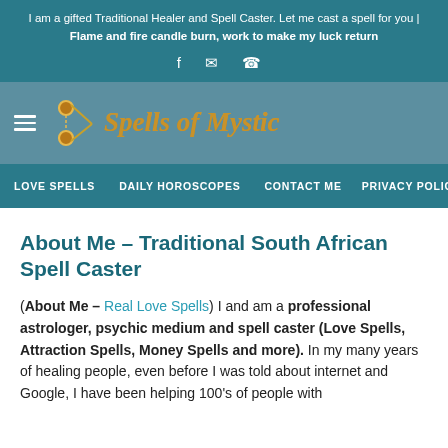I am a gifted Traditional Healer and Spell Caster. Let me cast a spell for you | Flame and fire candle burn, work to make my luck return
[Figure (logo): Spells of Mystic logo with scissors icon and golden italic text]
LOVE SPELLS  DAILY HOROSCOPES  CONTACT ME  PRIVACY POLICY
About Me – Traditional South African Spell Caster
(About Me – Real Love Spells) I and am a professional astrologer, psychic medium and spell caster (Love Spells, Attraction Spells, Money Spells and more). In my many years of healing people, even before I was told about internet and Google, I have been helping 100's of people with